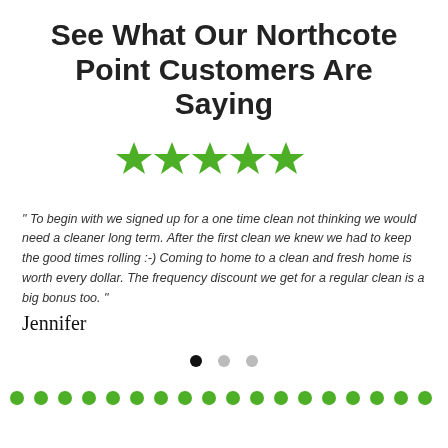See What Our Northcote Point Customers Are Saying
[Figure (other): Five green star rating icons]
" To begin with we signed up for a one time clean not thinking we would need a cleaner long term. After the first clean we knew we had to keep the good times rolling :-) Coming to home to a clean and fresh home is worth every dollar. The frequency discount we get for a regular clean is a big bonus too. "
Jennifer
[Figure (other): Carousel navigation dots: one black (active), two grey (inactive)]
[Figure (other): Row of green decorative dots spanning the width]